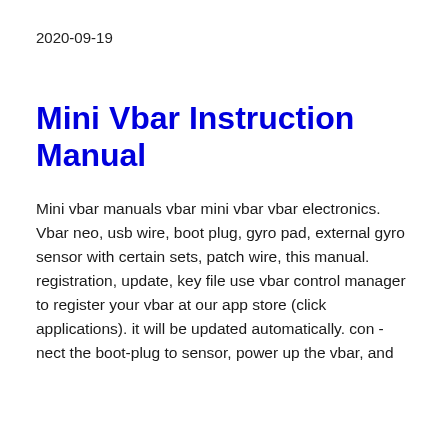2020-09-19
Mini Vbar Instruction Manual
Mini vbar manuals vbar mini vbar vbar electronics. Vbar neo, usb wire, boot plug, gyro pad, external gyro sensor with certain sets, patch wire, this manual. registration, update, key file use vbar control manager to register your vbar at our app store (click applications). it will be updated automatically. con - nect the boot-plug to sensor, power up the vbar, and